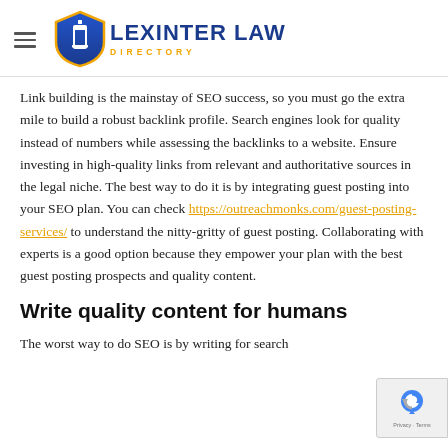Lexinter Law Directory
Link building is the mainstay of SEO success, so you must go the extra mile to build a robust backlink profile. Search engines look for quality instead of numbers while assessing the backlinks to a website. Ensure investing in high-quality links from relevant and authoritative sources in the legal niche. The best way to do it is by integrating guest posting into your SEO plan. You can check https://outreachmonks.com/guest-posting-services/ to understand the nitty-gritty of guest posting. Collaborating with experts is a good option because they empower your plan with the best guest posting prospects and quality content.
Write quality content for humans
The worst way to do SEO is by writing for search